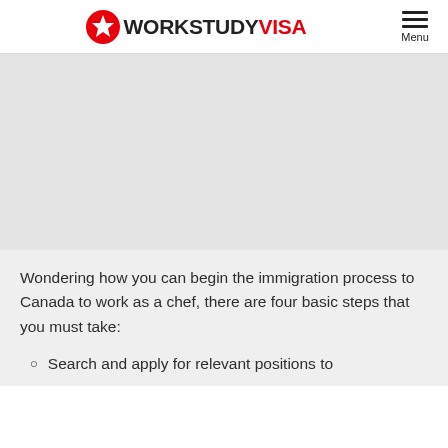WORKSTUDY VISA — Menu
[Figure (photo): Grey placeholder image area for a photo related to chef/immigration to Canada]
Wondering how you can begin the immigration process to Canada to work as a chef, there are four basic steps that you must take:
Search and apply for relevant positions to